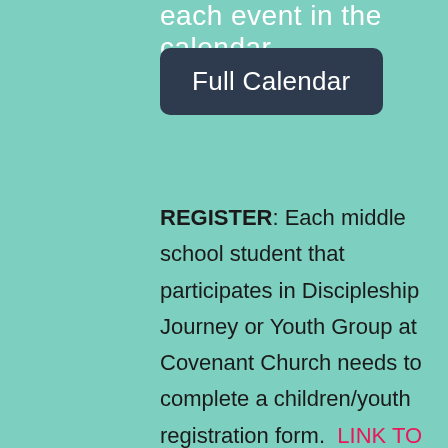each event in the calendar.
[Figure (other): Dark navy rounded rectangle button labeled 'Full Calendar']
REGISTER: Each middle school student that participates in Discipleship Journey or Youth Group at Covenant Church needs to complete a children/youth registration form.  LINK TO FORM